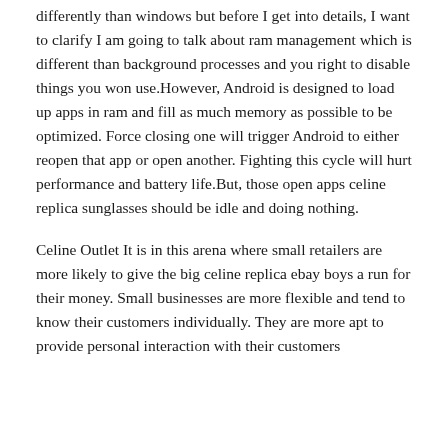differently than windows but before I get into details, I want to clarify I am going to talk about ram management which is different than background processes and you right to disable things you won use.However, Android is designed to load up apps in ram and fill as much memory as possible to be optimized. Force closing one will trigger Android to either reopen that app or open another. Fighting this cycle will hurt performance and battery life.But, those open apps celine replica sunglasses should be idle and doing nothing.
Celine Outlet It is in this arena where small retailers are more likely to give the big celine replica ebay boys a run for their money. Small businesses are more flexible and tend to know their customers individually. They are more apt to provide personal interaction with their customers